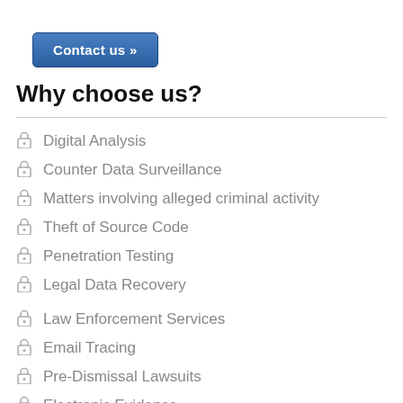[Figure (other): Blue 'Contact us »' button]
Why choose us?
Digital Analysis
Counter Data Surveillance
Matters involving alleged criminal activity
Theft of Source Code
Penetration Testing
Legal Data Recovery
Law Enforcement Services
Email Tracing
Pre-Dismissal Lawsuits
Electronic Evidence
Litigation Support
Internet Profiling
Expert Testimony